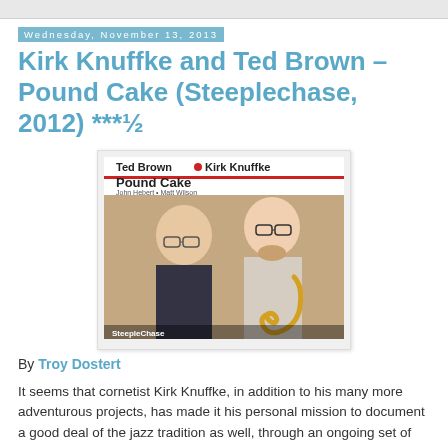Wednesday, November 13, 2013
Kirk Knuffke and Ted Brown – Pound Cake (Steeplechase, 2012) ***½
[Figure (photo): Album cover showing Ted Brown and Kirk Knuffke. Text on cover: 'Ted Brown • Kirk Knuffke / Pound Cake / John Hebert • Matt Wilson / SteepleChase'. Two men photographed, one older with glasses on left, one younger with beard and glasses holding a brass instrument on right.]
By Troy Dostert
It seems that cornetist Kirk Knuffke, in addition to his many more adventurous projects, has made it his personal mission to document a good deal of the jazz tradition as well, through an ongoing set of recordings with SteepleChase.  (See the